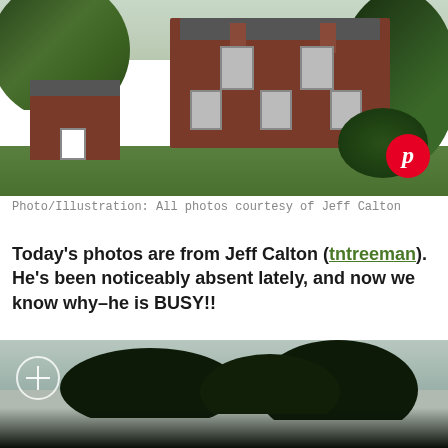[Figure (photo): Exterior photo of a large brick manor house with multiple chimneys, surrounded by trees and a green lawn. A Pinterest icon overlay appears in the bottom right corner.]
Photo/Illustration: All photos courtesy of Jeff Calton
Today’s photos are from Jeff Calton (tntreeman). He’s been noticeably absent lately, and now we know why–he is BUSY!!
[Figure (photo): Dark photo looking up through tree branches against a grey sky, with a circular plus/zoom icon in the upper left corner.]